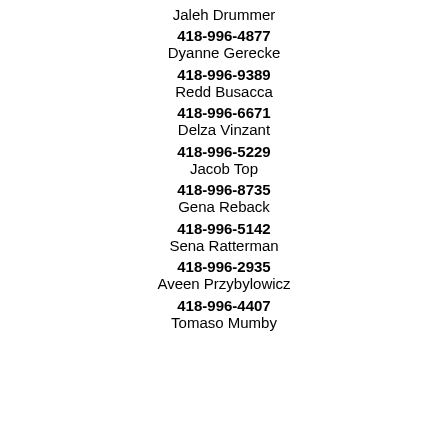Jaleh Drummer
418-996-4877
Dyanne Gerecke
418-996-9389
Redd Busacca
418-996-6671
Delza Vinzant
418-996-5229
Jacob Top
418-996-8735
Gena Reback
418-996-5142
Sena Ratterman
418-996-2935
Aveen Przybylowicz
418-996-4407
Tomaso Mumby